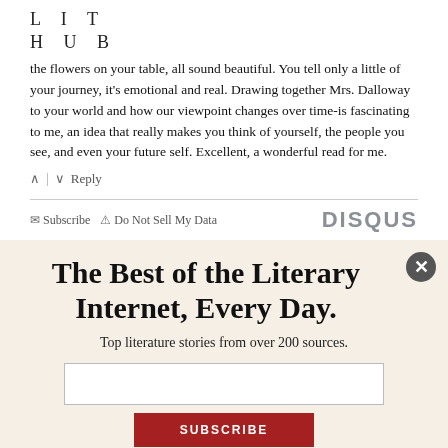LIT HUB
the flowers on your table, all sound beautiful. You tell only a little of your journey, it's emotional and real. Drawing together Mrs. Dalloway to your world and how our viewpoint changes over time-is fascinating to me, an idea that really makes you think of yourself, the people you see, and even your future self. Excellent, a wonderful read for me.
^ | v  Reply
✉ Subscribe  ⚠ Do Not Sell My Data   DISQUS
The Best of the Literary Internet, Every Day.
Top literature stories from over 200 sources.
SUBSCRIBE